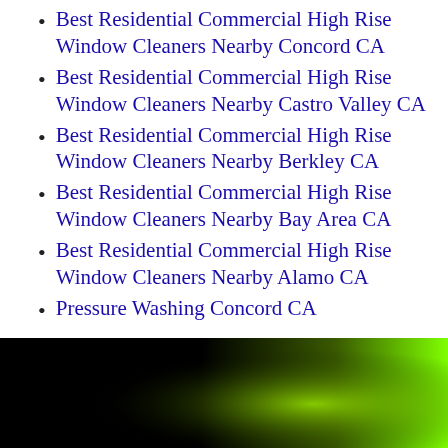Best Residential Commercial High Rise Window Cleaners Nearby Concord CA
Best Residential Commercial High Rise Window Cleaners Nearby Castro Valley CA
Best Residential Commercial High Rise Window Cleaners Nearby Berkley CA
Best Residential Commercial High Rise Window Cleaners Nearby Bay Area CA
Best Residential Commercial High Rise Window Cleaners Nearby Alamo CA
Pressure Washing Concord CA
[Figure (other): Gradient footer image transitioning from black on the left to bright green-yellow on the right]